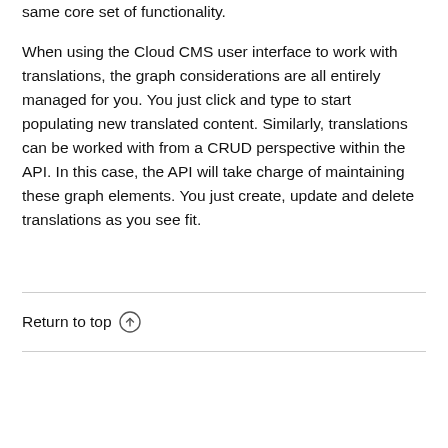all of your translated content participates in the same core set of functionality.
When using the Cloud CMS user interface to work with translations, the graph considerations are all entirely managed for you.  You just click and type to start populating new translated content.  Similarly, translations can be worked with from a CRUD perspective within the API.  In this case, the API will take charge of maintaining these graph elements.  You just create, update and delete translations as you see fit.
Return to top